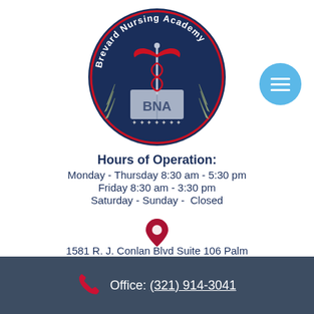[Figure (logo): Brevard Nursing Academy circular logo with caduceus medical symbol, open book with BNA letters, laurel wreath border, navy blue background with red and white text]
Hours of Operation:
Monday - Thursday 8:30 am - 5:30 pm
Friday 8:30 am - 3:30 pm
Saturday - Sunday -  Closed
[Figure (infographic): Red map pin / location marker icon]
1581 R. J. Conlan Blvd Suite 106 Palm Bay, FL 32905
[Figure (infographic): Facebook and Twitter social media icon buttons]
Office: (321) 914-3041